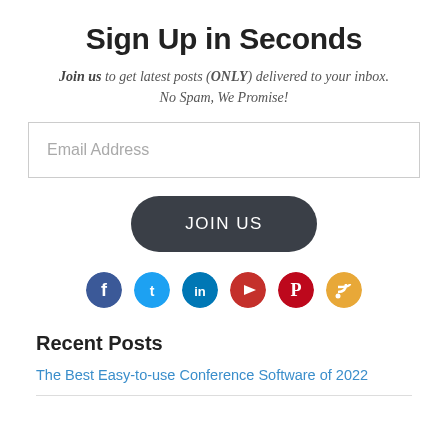Sign Up in Seconds
Join us to get latest posts (ONLY) delivered to your inbox. No Spam, We Promise!
[Figure (other): Email address input field with border]
[Figure (other): Dark rounded JOIN US button]
[Figure (other): Row of 6 social media icon circles: Facebook, Twitter, LinkedIn, YouTube, Pinterest, RSS]
Recent Posts
The Best Easy-to-use Conference Software of 2022